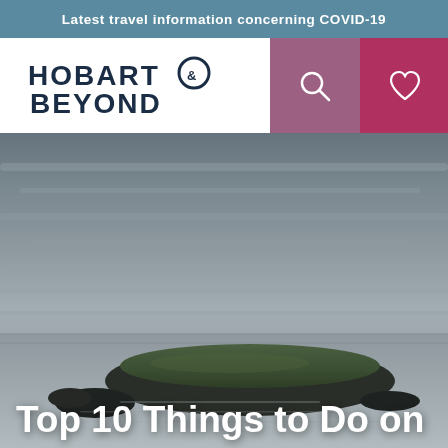Latest travel information concerning COVID-19
HOBART & BEYOND
[Figure (screenshot): Navigation bar with search (magnifying glass), heart/wishlist, and hamburger menu icons on dark blue and purple/red backgrounds]
[Figure (photo): Dramatic long-exposure coastal landscape photo showing a small grassy island/headland surrounded by calm grey water under moody overcast skies in Tasmania]
Top 10 Things to Do on